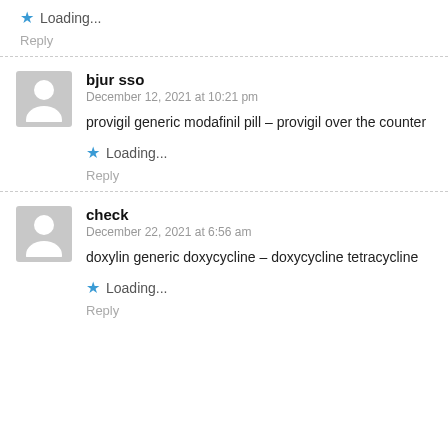Loading...
Reply
bjur sso
December 12, 2021 at 10:21 pm
provigil generic modafinil pill – provigil over the counter
Loading...
Reply
check
December 22, 2021 at 6:56 am
doxylin generic doxycycline – doxycycline tetracycline
Loading...
Reply